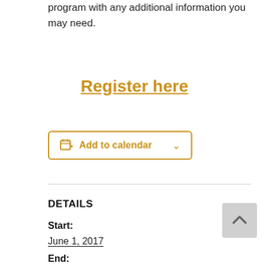program with any additional information you may need.
Register here
Add to calendar
DETAILS
Start:
June 1, 2017
End:
June 4, 2017
Event Category: